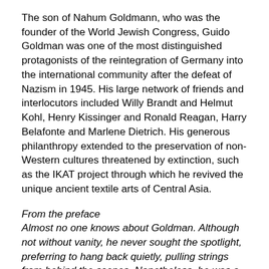The son of Nahum Goldmann, who was the founder of the World Jewish Congress, Guido Goldman was one of the most distinguished protagonists of the reintegration of Germany into the international community after the defeat of Nazism in 1945. His large network of friends and interlocutors included Willy Brandt and Helmut Kohl, Henry Kissinger and Ronald Reagan, Harry Belafonte and Marlene Dietrich. His generous philanthropy extended to the preservation of non-Western cultures threatened by extinction, such as the IKAT project through which he revived the unique ancient textile arts of Central Asia.
From the preface
Almost no one knows about Goldman. Although not without vanity, he never sought the spotlight, preferring to hang back quietly, pulling strings from behind the scenes. Nonetheless, he was a key figure in contemporary history; his life story reflects the twists and turns of a century of German, Jewish, European, and American history. His biography allows us to observe the continued impact of the Nazi era, the Cold War, and American racism; as if through a magnifying glass, we can examine the abysses, hopes, longings, successes, and defeats of the twentieth